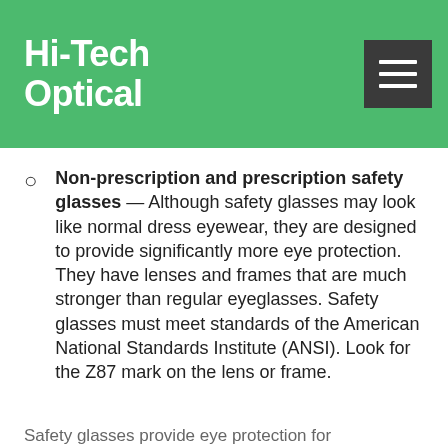Hi-Tech Optical
Non-prescription and prescription safety glasses — Although safety glasses may look like normal dress eyewear, they are designed to provide significantly more eye protection. They have lenses and frames that are much stronger than regular eyeglasses. Safety glasses must meet standards of the American National Standards Institute (ANSI). Look for the Z87 mark on the lens or frame.
Safety glasses provide eye protection for